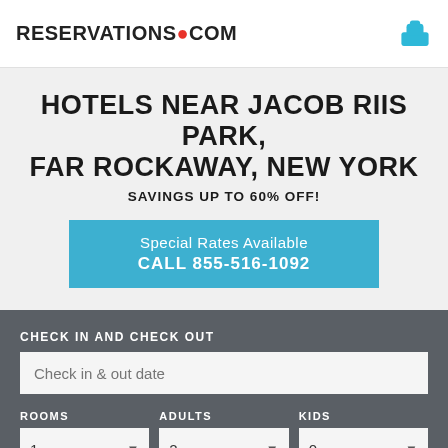RESERVATIONS•COM
HOTELS NEAR JACOB RIIS PARK, FAR ROCKAWAY, NEW YORK
SAVINGS UP TO 60% OFF!
Special Rates Available CALL 855-516-1092
CHECK IN AND CHECK OUT
Check in & out date
ROOMS 1 ADULTS 2 KIDS 0
SEARCH HOTEL DEALS